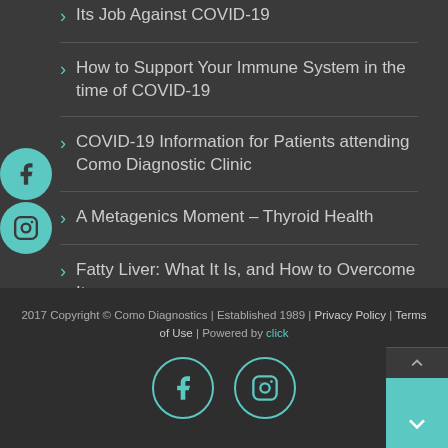Its Job Against COVID-19
How to Support Your Immune System in the time of COVID-19
COVID-19 Information for Patients attending Como Diagnostic Clinic
A Metagenics Moment – Thyroid Health
Fatty Liver: What It Is, and How to Overcome It
2017 Copyright © Como Diagnostics | Established 1989 | Privacy Policy | Terms of Use | Powered by click